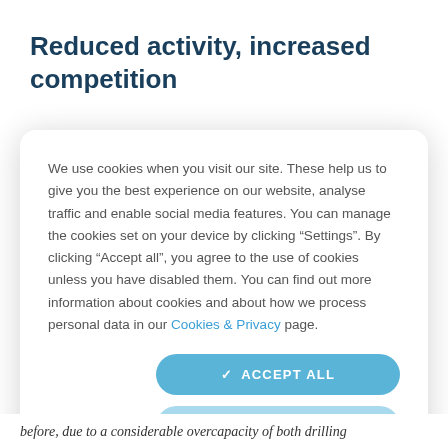Reduced activity, increased competition
We use cookies when you visit our site. These help us to give you the best experience on our website, analyse traffic and enable social media features. You can manage the cookies set on your device by clicking “Settings”. By clicking “Accept all”, you agree to the use of cookies unless you have disabled them. You can find out more information about cookies and about how we process personal data in our Cookies & Privacy page.
before, due to a considerable overcapacity of both drilling